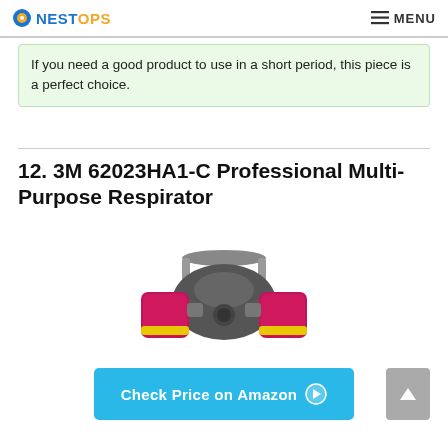NESTOPS | MENU
If you need a good product to use in a short period, this piece is a perfect choice.
12. 3M 62023HA1-C Professional Multi-Purpose Respirator
[Figure (photo): 3M 62023HA1-C Professional Multi-Purpose Respirator with pink/magenta filter cartridges and yellow accents on a grey half-face mask body]
Check Price on Amazon ➤